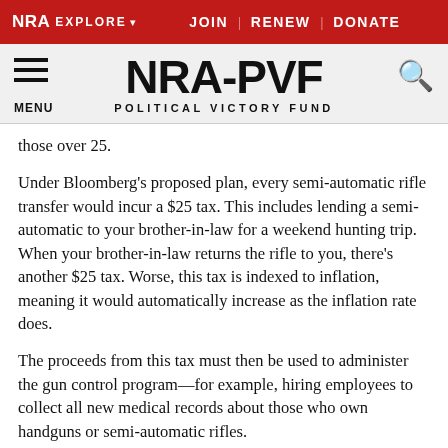NRA EXPLORE  JOIN | RENEW | DONATE
[Figure (logo): NRA-PVF Political Victory Fund logo with hamburger menu and search icon]
those over 25.
Under Bloomberg’s proposed plan, every semi-automatic rifle transfer would incur a $25 tax. This includes lending a semi-automatic to your brother-in-law for a weekend hunting trip. When your brother-in-law returns the rifle to you, there’s another $25 tax. Worse, this tax is indexed to inflation, meaning it would automatically increase as the inflation rate does.
The proceeds from this tax must then be used to administer the gun control program—for example, hiring employees to collect all new medical records about those who own handguns or semi-automatic rifles.
After...